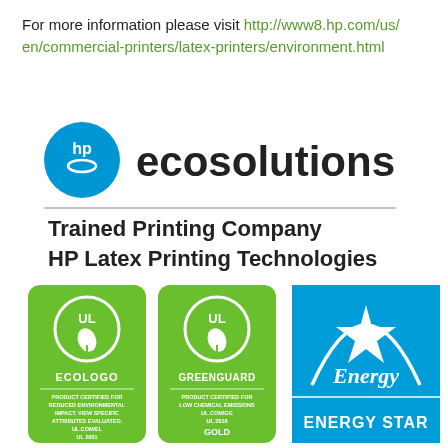For more information please visit http://www8.hp.com/us/en/commercial-printers/latex-printers/environment.html
[Figure (logo): HP ecosolutions logo with HP circle logo mark and 'ecosolutions' text, with horizontal rule, followed by 'Trained Printing Company HP Latex Printing Technologies']
[Figure (logo): UL ECOLOGO green badge - PRODUCT CERTIFIED FOR REDUCED ENVIRONMENTAL IMPACT. VIEW SPECIFIC ATTRIBUTES EVALUATED. UL.COM/EL UL 2801]
[Figure (logo): UL GREENGUARD green badge - PRODUCT CERTIFIED FOR LOW CHEMICAL EMISSIONS UL.COM/GG UL 2818 GOLD]
[Figure (logo): ENERGY STAR blue badge with star logo]